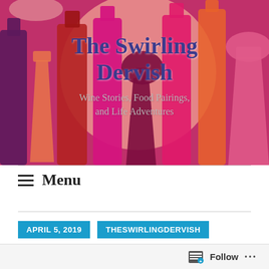[Figure (illustration): Colorful illustration of wine bottles and glasses in pink, magenta, red, orange, and purple tones forming a header banner. Blog title 'The Swirling Dervish' and subtitle 'Wine Stories, Food Pairings, and Life Adventures' overlaid on the image.]
The Swirling Dervish
Wine Stories, Food Pairings, and Life Adventures
Menu
APRIL 5, 2019
THESWIRLINGDERVISH
Follow